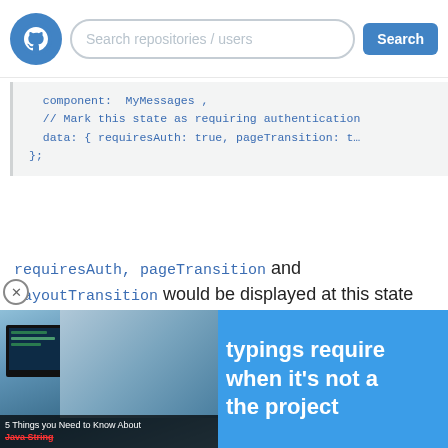[Figure (screenshot): GitHub search bar with logo, search field, and Search button]
component: MyMessages,
// Mark this state as requiring authentication
data: { requiresAuth: true, pageTransition: t...
};
requiresAuth, pageTransition and layoutTransition would be displayed at this state level in the popover. This would be handled similarly to "Resolved Data"
[Figure (photo): Ad banner showing people at computers with text: typings require when it's not a the project. Caption: 5 Things you Need to Know About Java String]